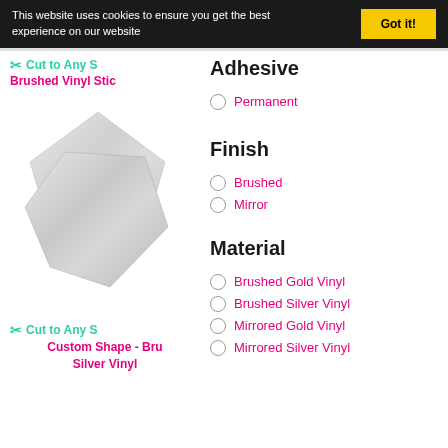This website uses cookies to ensure you get the best experience on our website
Got it!
✂ Cut to Any S
Brushed Vinyl Stic
Adhesive
Permanent
[Figure (illustration): A custom star/burst shaped brushed silver vinyl sticker product image]
Finish
Brushed
Mirror
Material
Brushed Gold Vinyl
Brushed Silver Vinyl
Mirrored Gold Vinyl
Mirrored Silver Vinyl
✂ Cut to Any S
Custom Shape - Bru Silver Vinyl